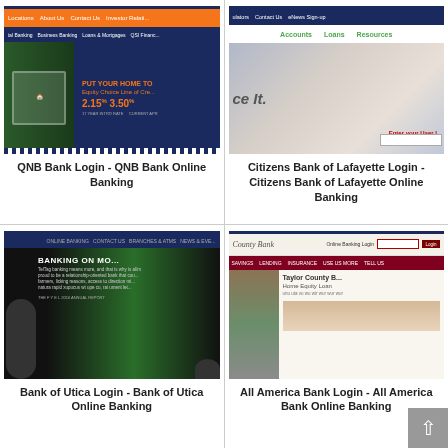[Figure (screenshot): Screenshot of QNB Bank website showing orange navigation bar, blue sub-navigation, and banner with equity line of credit rates 2.15% and 3.50%]
QNB Bank Login - QNB Bank Online Banking
[Figure (screenshot): Screenshot of Citizens Bank of Lafayette website showing blue header, green navigation links (Accounts, Loans, Resources), and banner with login prompt]
Citizens Bank of Lafayette Login - Citizens Bank of Lafayette Online Banking
[Figure (screenshot): Screenshot of Bank of Utica website showing dark header, nature background with trees, BANKING ON MO... text overlay with text about relationship banking]
Bank of Utica Login - Bank of Utica Online Banking
[Figure (screenshot): Screenshot of All America Bank website showing beige header with County Bank logo and Online Banking Login field, maroon navigation bar, and Home Equity Loan content with tools image]
All America Bank Login - All America Bank Online Banking